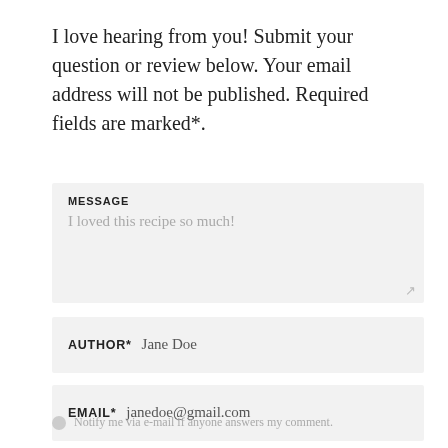I love hearing from you! Submit your question or review below. Your email address will not be published. Required fields are marked*.
MESSAGE
I loved this recipe so much!
AUTHOR*  Jane Doe
EMAIL*  janedoe@gmail.com
Notify me via e-mail if anyone answers my comment.